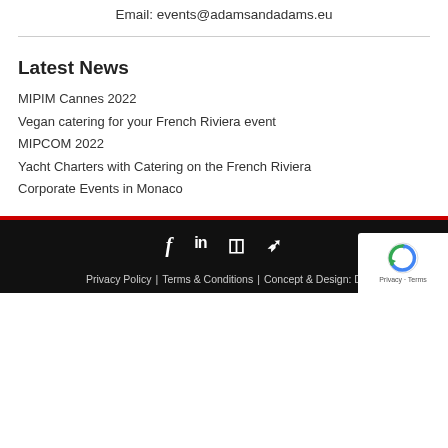Email: events@adamsandadams.eu
Latest News
MIPIM Cannes 2022
Vegan catering for your French Riviera event
MIPCOM 2022
Yacht Charters with Catering on the French Riviera
Corporate Events in Monaco
f  in  [instagram]  [pinterest]  |  Privacy Policy | Terms & Conditions | Concept & Design: [...]  Privacy - Terms